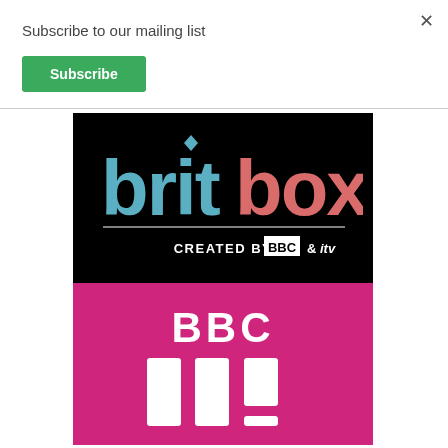Subscribe to our mailing list
Subscribe
[Figure (logo): BritBox logo on black background with text 'CREATED BY BBC & itv']
[Figure (logo): BBC Three logo on pink/magenta background with three vertical bars and exclamation mark]